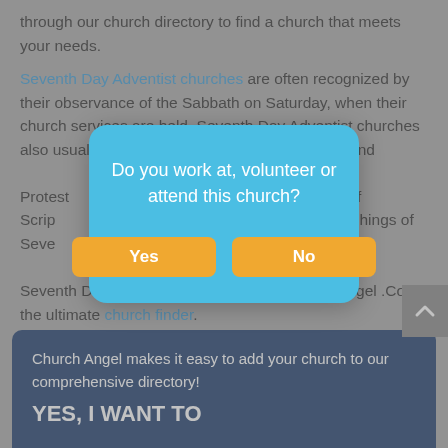through our church directory to find a church that meets your needs.
Seventh Day Adventist churches are often recognized by their observance of the Sabbath on Saturday, when their church services are held. Seventh Day Adventist churches also usually place a strong emphasis on the second ... e Advent... e Protest... bility of Scrip... hings of Seve... an investig... e of the dead. You can find a Seventh Day Adventist church here at Church Angel .Com - the ultimate church finder.
[Figure (other): Modal dialog box with light blue background asking 'Do you work at, volunteer or attend this church?' with two yellow buttons labeled 'Yes' and 'No']
Church Angel makes it easy to add your church to our comprehensive directory! YES, I WANT TO